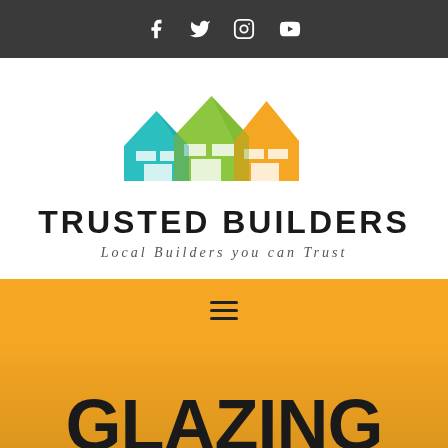Social media icons: Facebook, Twitter, Instagram, YouTube
[Figure (logo): Trusted Builders logo: three overlapping house silhouettes in teal, green, and orange colors, with brand name TRUSTED BUILDERS and tagline Local Builders you can Trust]
GLAZING REPLACEMEN